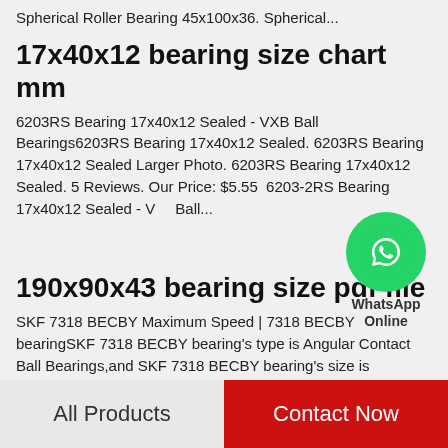Spherical Roller Bearing 45x100x36. Spherical...
17x40x12 bearing size chart mm
6203RS Bearing 17x40x12 Sealed - VXB Ball Bearings6203RS Bearing 17x40x12 Sealed. 6203RS Bearing 17x40x12 Sealed Larger Photo. 6203RS Bearing 17x40x12 Sealed. 5 Reviews. Our Price: $5.55  6203-2RS Bearing 17x40x12 Sealed - VXB Ball...
[Figure (logo): WhatsApp Online green circle logo with phone icon, labeled WhatsApp Online]
190x90x43 bearing size pdf file
SKF 7318 BECBY Maximum Speed | 7318 BECBY bearingSKF 7318 BECBY bearing's type is Angular Contact Ball Bearings,and SKF 7318 BECBY bearing's size is 190x90x43 6318 SKF Deep Groove Ball Bearings. ৷৷৷ ৷৷৷৷৷ ৷৷৷Deep groove ball bearings
All Products    Contact Now